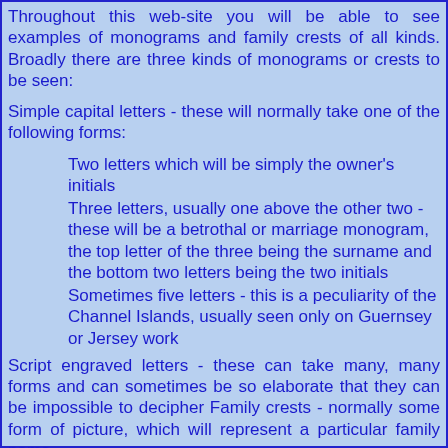Throughout this web-site you will be able to see examples of monograms and family crests of all kinds. Broadly there are three kinds of monograms or crests to be seen:
Simple capital letters - these will normally take one of the following forms:
Two letters which will be simply the owner's initials
Three letters, usually one above the other two - these will be a betrothal or marriage monogram, the top letter of the three being the surname and the bottom two letters being the two initials
Sometimes five letters - this is a peculiarity of the Channel Islands, usually seen only on Guernsey or Jersey work
Script engraved letters - these can take many, many forms and can sometimes be so elaborate that they can be impossible to decipher Family crests - normally some form of picture, which will represent a particular family name.
If you decide to specialise in sugar tongs with family crests then a copy of "Fairbairn's Crests of the Families of Great Britain and Ireland" will be essential reading, but beware there are vary many crests and people in those days often